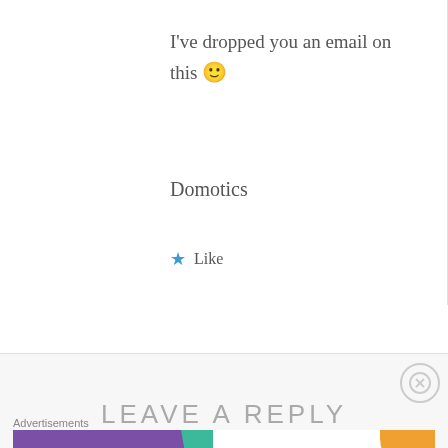I've dropped you an email on this 🙂
Domotics
★ Like
LEAVE A REPLY
Advertisements
[Figure (infographic): WooCommerce advertisement banner: 'How to start selling subscriptions online']